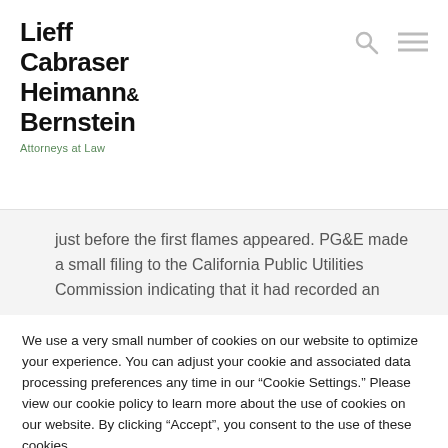Lieff Cabraser Heimann& Bernstein — Attorneys at Law
just before the first flames appeared. PG&E made a small filing to the California Public Utilities Commission indicating that it had recorded an
We use a very small number of cookies on our website to optimize your experience. You can adjust your cookie and associated data processing preferences any time in our “Cookie Settings.” Please view our cookie policy to learn more about the use of cookies on our website. By clicking “Accept”, you consent to the use of these cookies.
Do not sell my personal information
Cookie Policy    Cookie Settings    ACCEPT